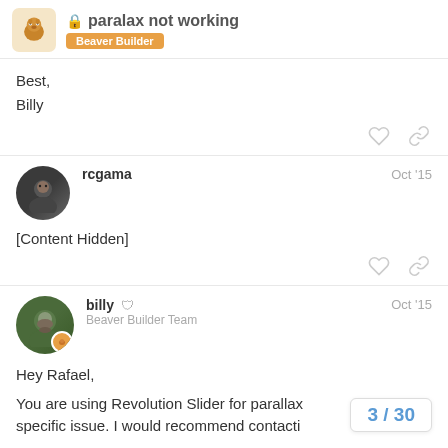paralax not working | Beaver Builder
Best,
Billy
rcgama  Oct '15
[Content Hidden]
billy  Beaver Builder Team  Oct '15
Hey Rafael,

You are using Revolution Slider for parallax specific issue. I would recommend contacti